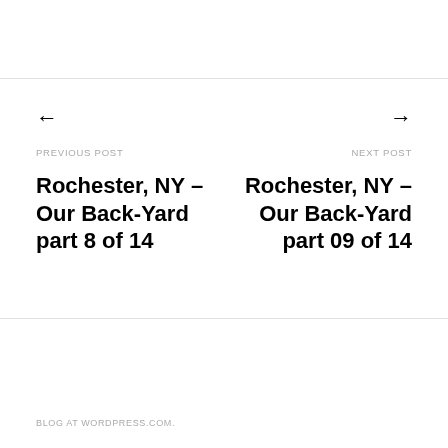← PREVIOUS POST
Rochester, NY – Our Back-Yard part 8 of 14
→ NEXT POST
Rochester, NY – Our Back-Yard part 09 of 14
BLOG AT WORDPRESS.COM.